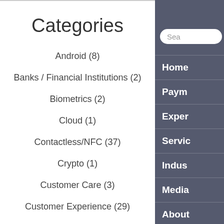Categories
Android (8)
Banks / Financial Institutions (2)
Biometrics (2)
Cloud (1)
Contactless/NFC (37)
Crypto (1)
Customer Care (3)
Customer Experience (29)
Developers (2)
Search
Home
Paym
Exper
Servic
Indus
Media
About
Conta
Partn